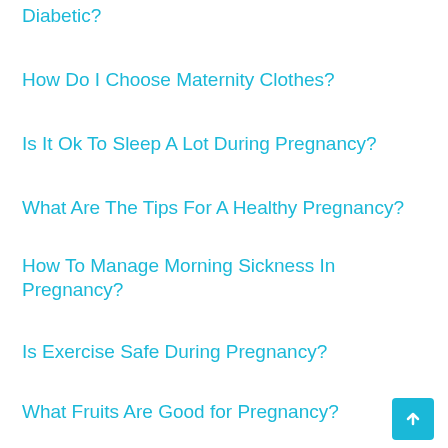Diabetic?
How Do I Choose Maternity Clothes?
Is It Ok To Sleep A Lot During Pregnancy?
What Are The Tips For A Healthy Pregnancy?
How To Manage Morning Sickness In Pregnancy?
Is Exercise Safe During Pregnancy?
What Fruits Are Good for Pregnancy?
What Are The Tips For The 1st Week Of Pregnancy?
What Helps With Pregnancy Nausea At Night?
How Can I Improve My Baby's Brain During Pregnancy?